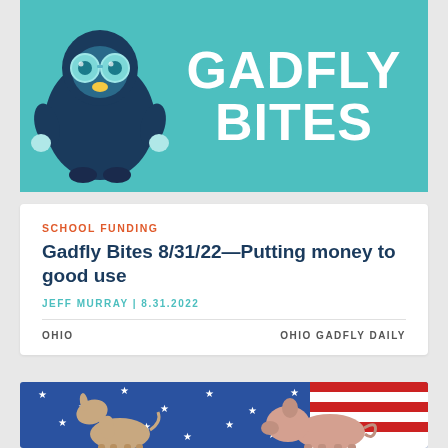[Figure (illustration): Gadfly Bites banner: teal background with a cartoon character wearing large round glasses on the left, and large white bold text reading GADFLY BITES on the right]
SCHOOL FUNDING
Gadfly Bites 8/31/22—Putting money to good use
JEFF MURRAY | 8.31.2022
OHIO                    OHIO GADFLY DAILY
[Figure (photo): Photo of a miniature donkey and a pig facing each other against a background of an American flag with stars and red/white/blue stripes]